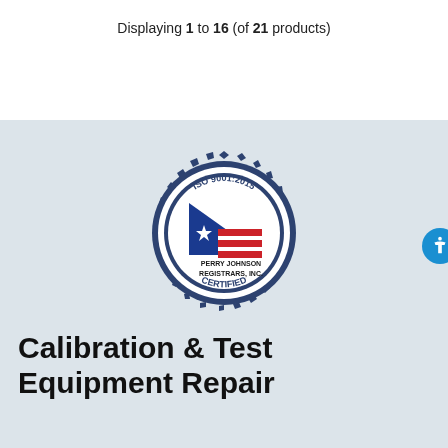Displaying 1 to 16 (of 21 products)
[Figure (logo): ISO 9001:2015 Perry Johnson Registrars, Inc. Certified badge/seal with star and stripes flag motif]
Calibration & Test Equipment Repair
The BRL Test Lab offers in-house ISO9001:2015 compliant calibration to its end users and industry professionals with precision, accuracy, fast turn-